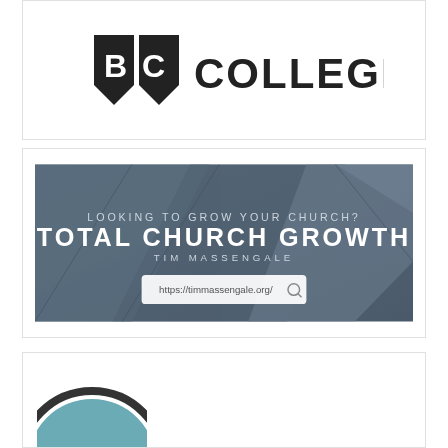[Figure (logo): BC College logo with shield icon and bold text reading COLLEGE]
[Figure (screenshot): Total Church Growth website banner with text 'LOOKING TO GROW YOUR CHURCH? TOTAL CHURCH GROWTH TIM MASSENGALE' and URL bar showing https://timmassengale.org/]
[Figure (logo): Circular badge logo with letters 'ibc' inside, teal/blue color with dark border, partially visible]